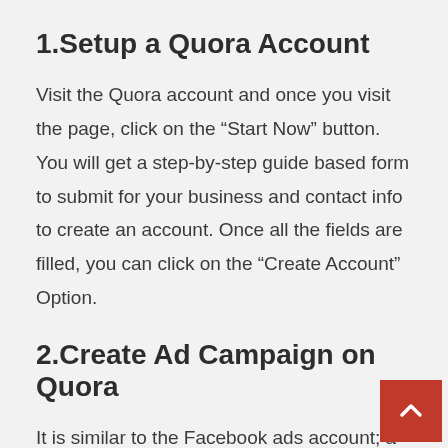1.Setup a Quora Account
Visit the Quora account and once you visit the page, click on the “Start Now” button. You will get a step-by-step guide based form to submit for your business and contact info to create an account. Once all the fields are filled, you can click on the “Create Account” Option.
2.Create Ad Campaign on Quora
It is similar to the Facebook ads account; a Quora advertising campaign is a